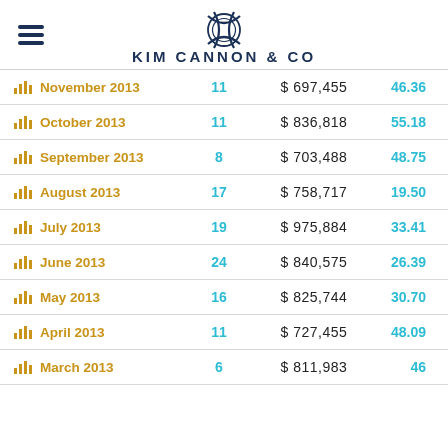KIM CANNON & CO
| Month | Count | Value | Score |
| --- | --- | --- | --- |
| November 2013 | 11 | $ 697,455 | 46.36 |
| October 2013 | 11 | $ 836,818 | 55.18 |
| September 2013 | 8 | $ 703,488 | 48.75 |
| August 2013 | 17 | $ 758,717 | 19.50 |
| July 2013 | 19 | $ 975,884 | 33.41 |
| June 2013 | 24 | $ 840,575 | 26.39 |
| May 2013 | 16 | $ 825,744 | 30.70 |
| April 2013 | 11 | $ 727,455 | 48.09 |
| March 2013 | 6 | $ 811,983 | 46 |